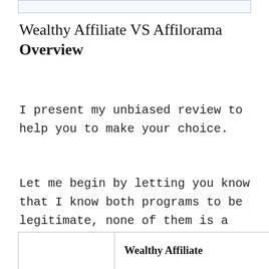[Figure (other): Partial top box/border element visible at top of page]
Wealthy Affiliate VS Affilorama Overview
I present my unbiased review to help you to make your choice.
Let me begin by letting you know that I know both programs to be legitimate, none of them is a scam.
|  | Wealthy Affiliate |
| --- | --- |